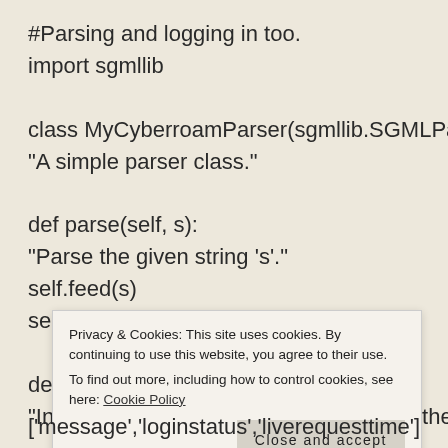#Parsing and logging in too.
import sgmllib

class MyCyberroamParser(sgmllib.SGMLParser):
"A simple parser class."

def parse(self, s):
"Parse the given string 's'."
self.feed(s)
self.close()

def __init__(self, verbose=0):
"Initialise an object, passing 'verbose' to the
['message','loginstatus','liverequesttime']
Privacy & Cookies: This site uses cookies. By continuing to use this website, you agree to their use.
To find out more, including how to control cookies, see here: Cookie Policy
Close and accept